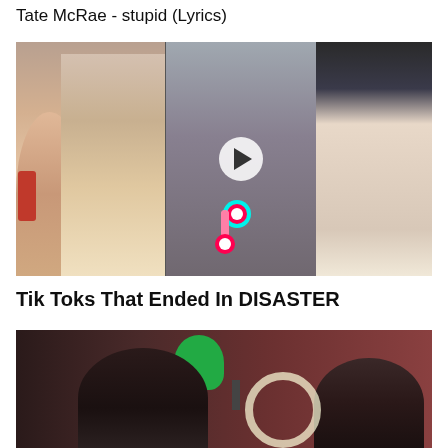Tate McRae - stupid (Lyrics)
[Figure (screenshot): YouTube video thumbnail for 'Tik Toks That Ended In DISASTER' showing three panels: left panel with two girls and a spray can, middle panel with a woman being sprayed and a TikTok logo with play button, right panel with a shocked girl with glasses covering her mouth.]
Tik Toks That Ended In DISASTER
[Figure (screenshot): YouTube video thumbnail showing two people in front of a dark red background with a green lamp, and a ring light visible between them.]